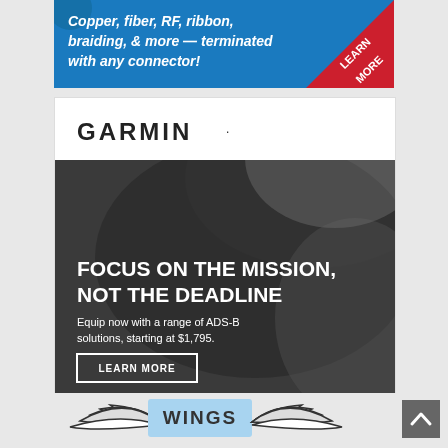[Figure (illustration): Blue advertisement banner for cable/wire products: 'Copper, fiber, RF, ribbon, braiding, & more — terminated with any connector!' with a red triangle in the bottom-right corner containing 'LEARN MORE' in white bold text.]
[Figure (illustration): Garmin aviation advertisement showing a dark aircraft cockpit/fuselage image. Text overlay: 'FOCUS ON THE MISSION, NOT THE DEADLINE' in large white bold uppercase text. Subtext: 'Equip now with a range of ADS-B solutions, starting at $1,795.' with a 'LEARN MORE' button. Garmin logo at top-left.]
[Figure (logo): WINGS logo with stylized wing graphics on either side — white wings with dark outline on a light blue background banner labeled 'WINGS'.]
[Figure (illustration): Dark gray scroll-to-top button with an upward-pointing chevron/caret icon in white, positioned at bottom-right.]